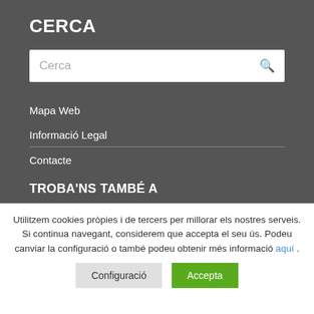CERCA
Cerca
Mapa Web
Informació Legal
Contacte
TROBA'NS TAMBÉ A
Utilitzem cookies pròpies i de tercers per millorar els nostres serveis. Si continua navegant, considerem que accepta el seu ús. Podeu canviar la configuració o també podeu obtenir més informació aquí .
Configuració
Accepta